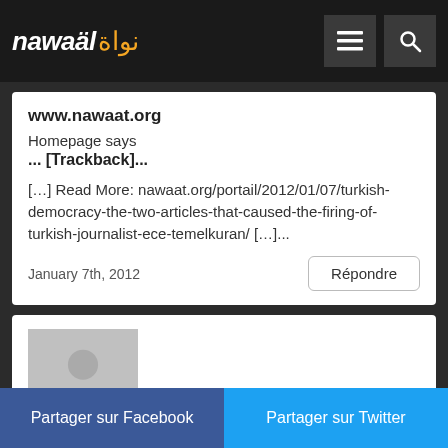nawaat نواة
www.nawaat.org
Homepage says
... [Trackback]...
[…] Read More: nawaat.org/portail/2012/01/07/turkish-democracy-the-two-articles-that-caused-the-firing-of-turkish-journalist-ece-temelkuran/ […]...
January 7th, 2012
Répondre
[Figure (photo): Grey avatar placeholder with person silhouette icon]
Nawaat de Tunisie (@nawaat) (@nawaat)
Partager sur Facebook
Partager sur Twitter